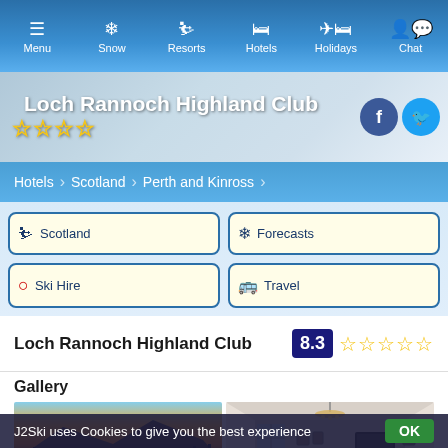Menu | Snow | Resorts | Hotels | Holidays | Chat
Loch Rannoch Highland Club ★★★★
Hotels > Scotland > Perth and Kinross
Scotland
Forecasts
Ski Hire
Travel
Lessons
Chalets
Loch Rannoch Highland Club  8.3 ★★★★
Gallery
[Figure (photo): Outdoor landscape photo showing sunset or sunrise over hills/mountains with silhouetted trees]
[Figure (photo): Indoor room photo showing a living area with chandelier, TV on wall, and framed pictures]
J2Ski uses Cookies to give you the best experience  OK